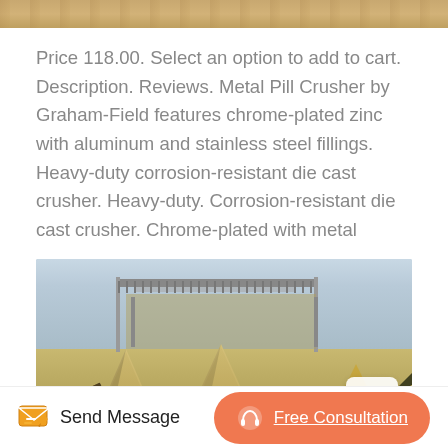[Figure (photo): Top portion of a sandy/earthy outdoor scene, cropped at top of page]
Price 118.00. Select an option to add to cart. Description. Reviews. Metal Pill Crusher by Graham-Field features chrome-plated zinc with aluminum and stainless steel fillings. Heavy-duty corrosion-resistant die cast crusher. Heavy-duty. Corrosion-resistant die cast crusher. Chrome-plated with metal
[Figure (photo): Industrial crushing/mining machinery with large cone-shaped crushers, conveyor belts, and aggregate material piles outdoors under a light blue sky]
Send Message
Free Consultation